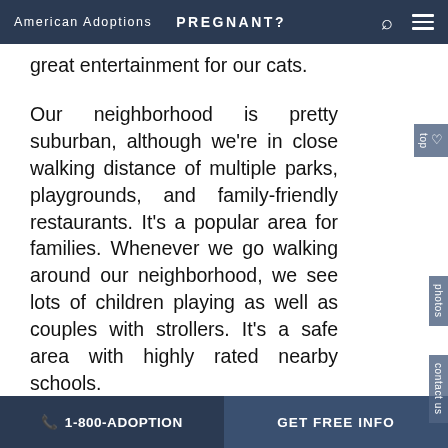American Adoptions   PREGNANT?
great entertainment for our cats.
Our neighborhood is pretty suburban, although we're in close walking distance of multiple parks, playgrounds, and family-friendly restaurants. It's a popular area for families. Whenever we go walking around our neighborhood, we see lots of children playing as well as couples with strollers. It's a safe area with highly rated nearby schools.
The local library (also within walking distance) has story time and book clubs for the local kids. One of the nearby playgrounds has a swimming pool where children can take
📞 1-800-ADOPTION   GET FREE INFO